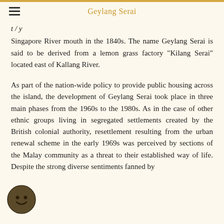Geylang Serai
Singapore River mouth in the 1840s. The name Geylang Serai is said to be derived from a lemon grass factory "Kilang Serai" located east of Kallang River.
As part of the nation-wide policy to provide public housing across the island, the development of Geylang Serai took place in three main phases from the 1960s to the 1980s. As in the case of other ethnic groups living in segregated settlements created by the British colonial authority, resettlement resulting from the urban renewal scheme in the early 1969s was perceived by sections of the Malay community as a threat to their established way of life. Despite the strong diverse sentiments fanned by